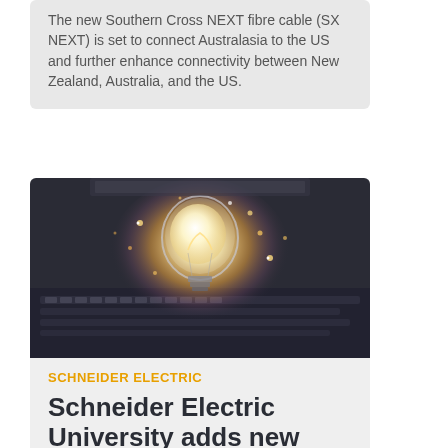The new Southern Cross NEXT fibre cable (SX NEXT) is set to connect Australasia to the US and further enhance connectivity between New Zealand, Australia, and the US.
[Figure (photo): Glowing light bulb with sparkling lights resting on a laptop keyboard on a dark surface]
SCHNEIDER ELECTRIC
Schneider Electric University adds new courses to lineup